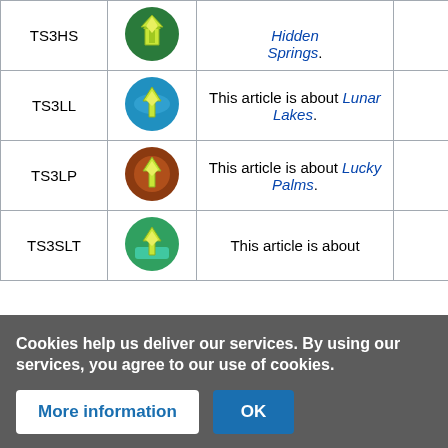| Code | Icon | Description |  |
| --- | --- | --- | --- |
| TS3HS | [icon] | This article is about Hidden Springs. |  |
| TS3LL | [icon] | This article is about Lunar Lakes. |  |
| TS3LP | [icon] | This article is about Lucky Palms. |  |
| TS3SLT | [icon] | This article is about Sandy Trails (partial)... |  |
| TS3MV | [icon] | This article is about Monte Vista (partial)... |  |
Cookies help us deliver our services. By using our services, you agree to our use of cookies.